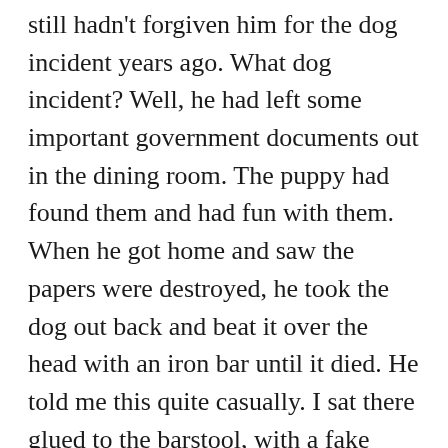We were talking about parenting. He said his kids still hadn't forgiven him for the dog incident years ago. What dog incident? Well, he had left some important government documents out in the dining room. The puppy had found them and had fun with them. When he got home and saw the papers were destroyed, he took the dog out back and beat it over the head with an iron bar until it died. He told me this quite casually. I sat there glued to the barstool, with a fake some kind of expression on my face, not able to move or speak or do anything but experience absolute horror. He chuckled and said the kids were still pissed off about it. I was actually afraid for my own life at that point. I excused myself and went to the bathroom, trying to figure out how I could run. When I came out, he was watching the door like a hawk, and smiling. I sat back down. Still couldn't speak. He tried to kiss me. I faked coughing. I said I